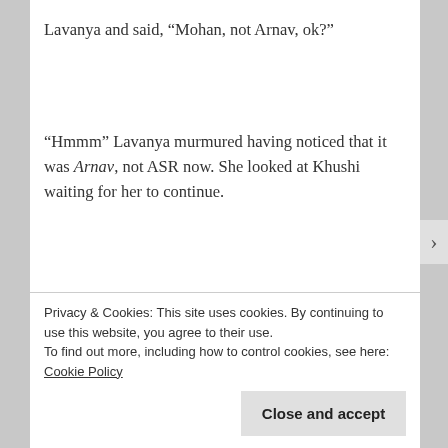Lavanya and said, “Mohan, not Arnav, ok?”
“Hmmm” Lavanya murmured having noticed that it was Arnav, not ASR now. She looked at Khushi waiting for her to continue.
“That’s it Lav. Oh, we went to Medfest and I
Privacy & Cookies: This site uses cookies. By continuing to use this website, you agree to their use.
To find out more, including how to control cookies, see here: Cookie Policy
Close and accept